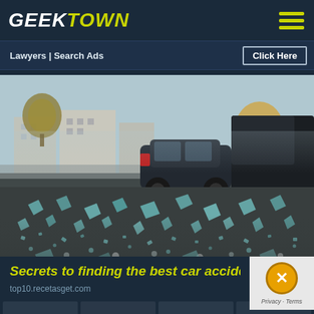GEEKTOWN
Lawyers | Search Ads    Click Here
[Figure (photo): Street-level view of a car accident scene with shattered glass scattered across dark asphalt in the foreground, two cars visible in the background on a city street with trees and buildings]
Secrets to finding the best car accident la...
top10.recetasget.com